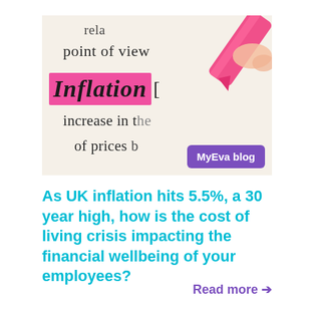[Figure (photo): Close-up photo of a dictionary page showing the word 'Inflation' highlighted in pink with a pink highlighter pen. Background text includes 'point of view', 'increase in the', 'of prices'. A purple badge in the bottom-right reads 'MyEva blog'.]
As UK inflation hits 5.5%, a 30 year high, how is the cost of living crisis impacting the financial wellbeing of your employees?
Read more →